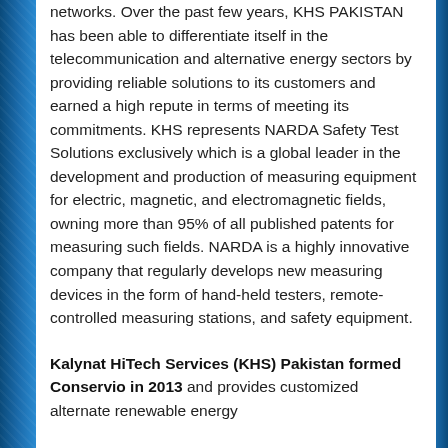networks. Over the past few years, KHS PAKISTAN has been able to differentiate itself in the telecommunication and alternative energy sectors by providing reliable solutions to its customers and earned a high repute in terms of meeting its commitments. KHS represents NARDA Safety Test Solutions exclusively which is a global leader in the development and production of measuring equipment for electric, magnetic, and electromagnetic fields, owning more than 95% of all published patents for measuring such fields. NARDA is a highly innovative company that regularly develops new measuring devices in the form of hand-held testers, remote-controlled measuring stations, and safety equipment.
Kalynat HiTech Services (KHS) Pakistan formed Conservio in 2013 and provides customized alternate renewable energy...